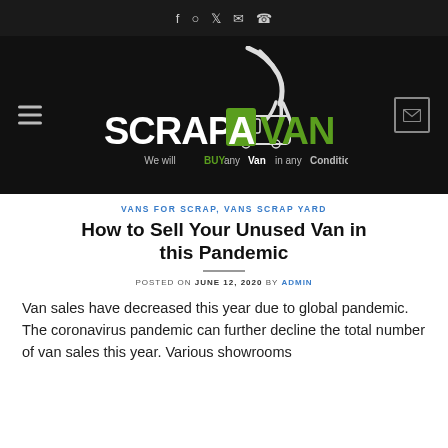f  ⊡  𝕏  ✉  ✆
[Figure (logo): Scrap A Van logo on black background — large mechanical claw grabbing a van, text reads SCRAP A VAN in black and green, tagline: We will BUY any Van in any Condition]
VANS FOR SCRAP, VANS SCRAP YARD
How to Sell Your Unused Van in this Pandemic
POSTED ON JUNE 12, 2020 BY ADMIN
Van sales have decreased this year due to global pandemic. The coronavirus pandemic can further decline the total number of van sales this year. Various showrooms